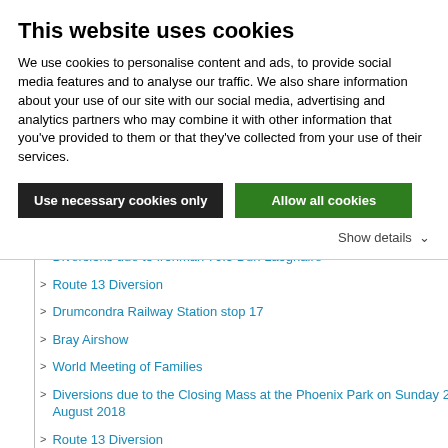This website uses cookies
We use cookies to personalise content and ads, to provide social media features and to analyse our traffic. We also share information about your use of our site with our social media, advertising and analytics partners who may combine it with other information that you've provided to them or that they've collected from your use of their services.
Use necessary cookies only | Allow all cookies | Show details
Diversions due to Ironman 70.3 Dun Laoghaire
Route 13 Diversion
Drumcondra Railway Station stop 17
Bray Airshow
World Meeting of Families
Diversions due to the Closing Mass at the Phoenix Park on Sunday 26 August 2018
Route 13 Diversion
August Bank Holiday Arrangements 2018
Diversion on Routes 4, 9, 83 and 140